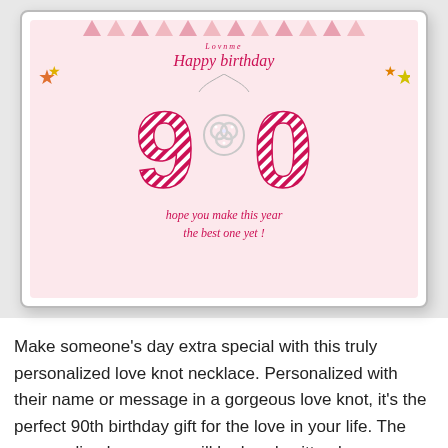[Figure (photo): Product photo of a 90th birthday gift box containing a love knot necklace. The gift card inside has a pink background with striped '90' numbers in magenta/pink, a silver love knot pendant necklace, stars decorations, 'Happy birthday' text in pink italic script, brand logo at top, and text 'hope you make this year the best one yet!' at the bottom.]
Make someone's day extra special with this truly personalized love knot necklace. Personalized with their name or message in a gorgeous love knot, it's the perfect 90th birthday gift for the love in your life. The personalized message will be hand written by our artists and is laser